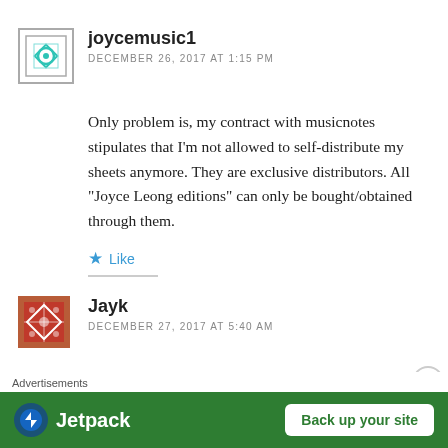[Figure (illustration): User avatar for joycemusic1 — teal/green geometric pattern in a square border]
joycemusic1
DECEMBER 26, 2017 AT 1:15 PM
Only problem is, my contract with musicnotes stipulates that I'm not allowed to self-distribute my sheets anymore. They are exclusive distributors. All "Joyce Leong editions" can only be bought/obtained through them.
Like
[Figure (illustration): User avatar for Jayk — orange/brown geometric pattern square]
Jayk
DECEMBER 27, 2017 AT 5:40 AM
Advertisements
[Figure (other): Jetpack advertisement banner — green background with Jetpack logo and Back up your site button]